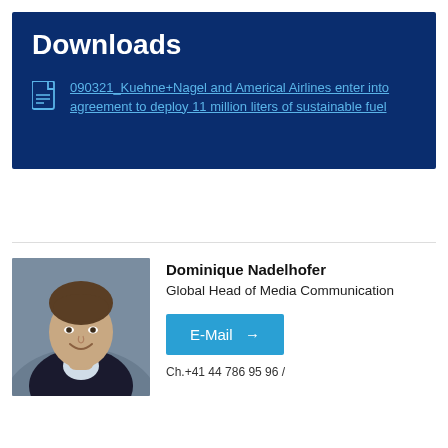Downloads
090321_Kuehne+Nagel and Americal Airlines enter into agreement to deploy 11 million liters of sustainable fuel
[Figure (photo): Headshot of Dominique Nadelhofer, a smiling man in a dark blazer against a blue-grey background]
Dominique Nadelhofer
Global Head of Media Communication
E-Mail →
Ch.+41 44 786 95 96 /